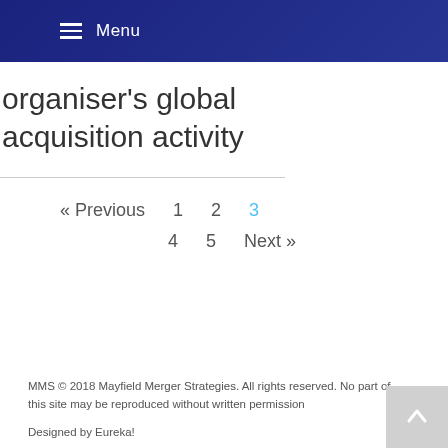Menu
organiser's global acquisition activity
« Previous  1  2  3  4  5  Next »
MMS © 2018 Mayfield Merger Strategies. All rights reserved. No part of this site may be reproduced without written permission

Designed by Eureka!